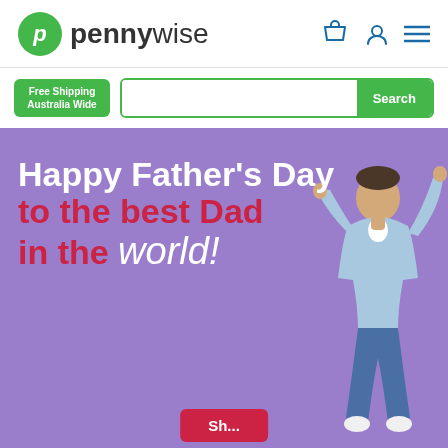[Figure (logo): Pennywise logo: green circle with white italic P, followed by pennywise in grey text with 'wise' in bold]
[Figure (screenshot): Search bar with Free Shipping Australia Wide green badge and green Search button]
[Figure (illustration): Purple banner with Happy Father's Day to the best Dad in the world! text and a jumping man on the right side]